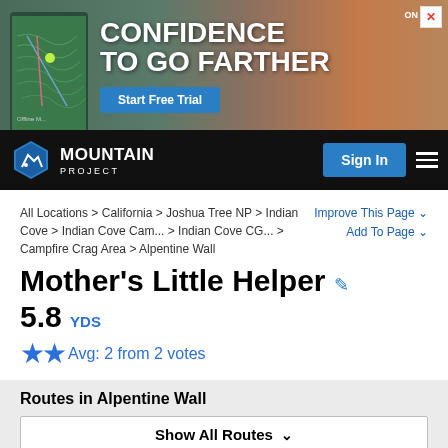[Figure (screenshot): Advertisement banner for ONX/outdoor GPS app: 'CONFIDENCE TO GO FARTHER' with Start Free Trial CTA button, showing phone with topographic map and mountain hiker background]
[Figure (logo): Mountain Project logo - hexagon icon with mountain/skier graphic, text 'MOUNTAIN PROJECT' in white on black nav bar, with Sign In button and hamburger menu]
All Locations > California > Joshua Tree NP > Indian Cove > Indian Cove Cam... > Indian Cove CG... > Campfire Crag Area > Alpentine Wall
Improve This Page ∨
Add To Page ∨
Mother's Little Helper
5.8 YDS
★★ Avg: 2 from 2 votes
Routes in Alpentine Wall
Show All Routes ∨